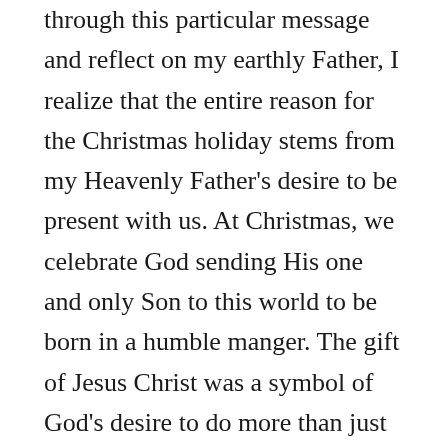through this particular message and reflect on my earthly Father, I realize that the entire reason for the Christmas holiday stems from my Heavenly Father's desire to be present with us. At Christmas, we celebrate God sending His one and only Son to this world to be born in a humble manger. The gift of Jesus Christ was a symbol of God's desire to do more than just watch our lives from a distance. The greatest Christmas gift was about coming close to us and walking side-by-side with us as we traverse through this life. Jesus left His throne and came down to all of us to be with us. He
For God, Christmas wasn't about presents. Christmas was about presence. I'm thankful that I